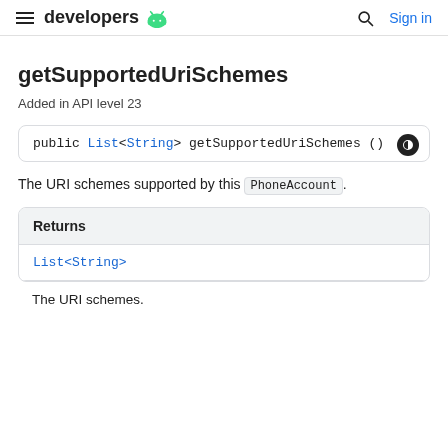developers | Sign in
getSupportedUriSchemes
Added in API level 23
The URI schemes supported by this PhoneAccount.
| Returns |
| --- |
| List<String> |
The URI schemes.